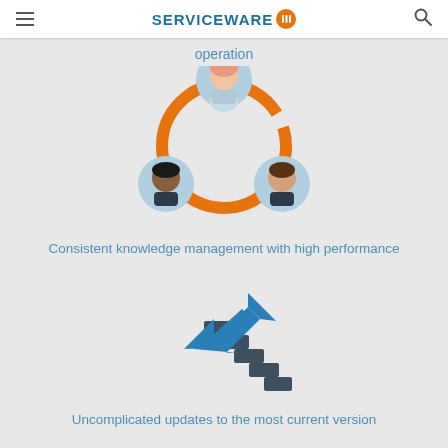SERVICEWARE
operation
[Figure (illustration): Three diverse people avatars arranged in a triangle connected by an orange circular loop, representing collaborative team knowledge management]
Consistent knowledge management with high performance
[Figure (illustration): A blue upward-pointing arrow above dark gray stair steps, representing updates/progress to the most current version]
Uncomplicated updates to the most current version